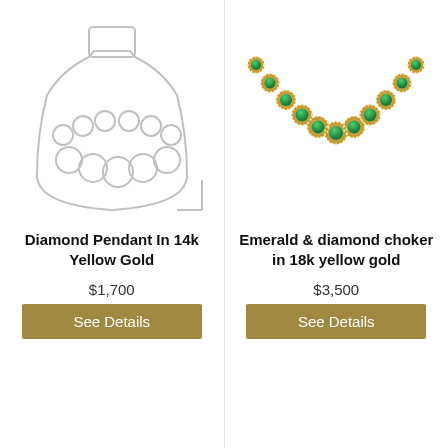[Figure (illustration): Line drawing of a pearl/bead necklace displayed on a mannequin bust form, outline style in light gray]
Diamond Pendant In 14k Yellow Gold
$1,700
See Details
[Figure (photo): Photo of an emerald and diamond choker necklace in 18k yellow gold, with green emerald stones set in gold with diamond halos, arranged in a crescent arc]
Emerald & diamond choker in 18k yellow gold
$3,500
See Details